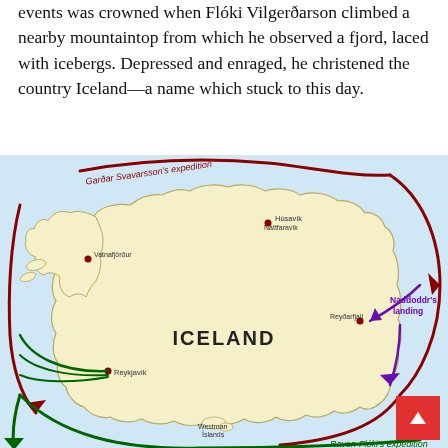events was crowned when Flóki Vilgerðarson climbed a nearby mountaintop from which he observed a fjord, laced with icebergs. Depressed and enraged, he christened the country Iceland—a name which stuck to this day.
[Figure (map): Map of Iceland showing Garðar Svavarsson's expedition route (dark red arrow circling clockwise around Iceland), Raven-Flóki's expedition (dark green arrows), and Naddoddr's landing (purple arrow pointing to Reyðarfjall on the east coast). Labeled locations include Húsavík, Náttfaravík, Reyðarfjall, Reykjavík, Westman Islands, Vatnafjörður.]